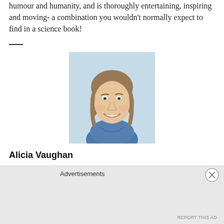humour and humanity, and is thoroughly entertaining, inspiring and moving- a combination you wouldn't normally expect to find in a science book!
[Figure (photo): Headshot portrait of a smiling young woman with shoulder-length brown hair, wearing a blue collared shirt, against a light blue background]
Alicia Vaughan
Advertisements